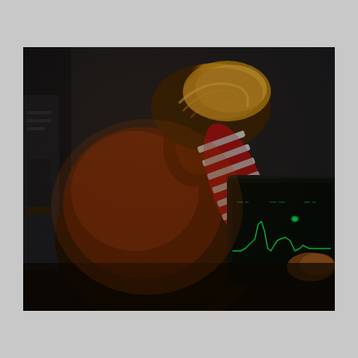[Figure (photo): A person with blonde hair, seen from behind, wearing a dark sweater with a red and white striped sleeve, leaning over a medical monitor displaying a green ECG/waveform trace. The room is darkly lit with warm tones. A medical imaging or monitoring device screen is visible on the right showing green waveforms indicative of cardiac monitoring.]